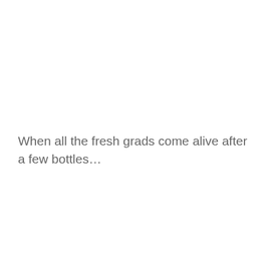When all the fresh grads come alive after a few bottles…